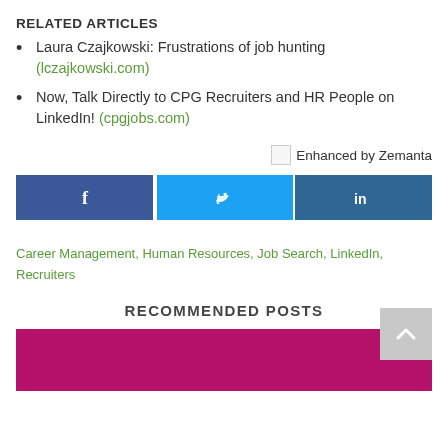RELATED ARTICLES
Laura Czajkowski: Frustrations of job hunting (lczajkowski.com)
Now, Talk Directly to CPG Recruiters and HR People on LinkedIn! (cpgjobs.com)
[Figure (other): Enhanced by Zemanta badge with small image icon]
[Figure (other): Social share buttons: Facebook, Twitter, LinkedIn]
Career Management, Human Resources, Job Search, LinkedIn, Recruiters
RECOMMENDED POSTS
[Figure (photo): Magenta/pink colored image block for a recommended post]